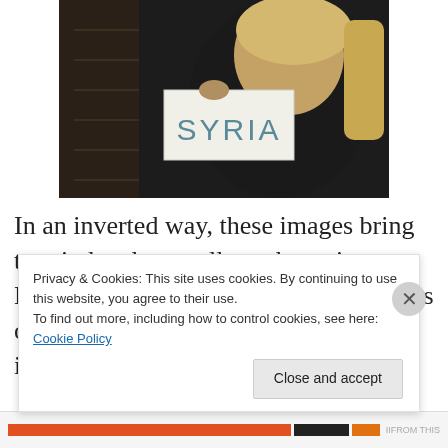[Figure (photo): A young blonde woman holding a white sign with 'SYRIA' written on it in blue letters, standing in front of dark stairs]
In an inverted way, these images bring to mind a photo collages by artist Martha Rosler that put together interiors of American middle class houses with images from
Privacy & Cookies: This site uses cookies. By continuing to use this website, you agree to their use.
To find out more, including how to control cookies, see here: Cookie Policy
Close and accept